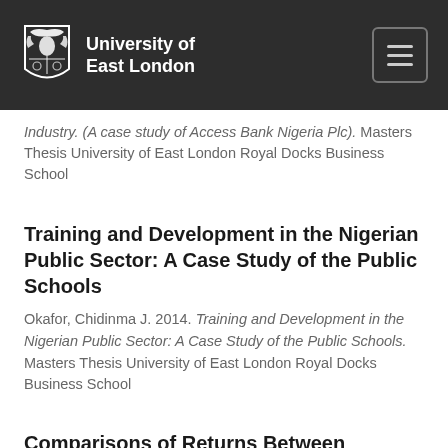University of East London
Industry. (A case study of Access Bank Nigeria Plc). Masters Thesis University of East London Royal Docks Business School
Training and Development in the Nigerian Public Sector: A Case Study of the Public Schools
Okafor, Chidinma J. 2014. Training and Development in the Nigerian Public Sector: A Case Study of the Public Schools. Masters Thesis University of East London Royal Docks Business School
Comparisons of Returns Between Randomly Chosen Portfolios from